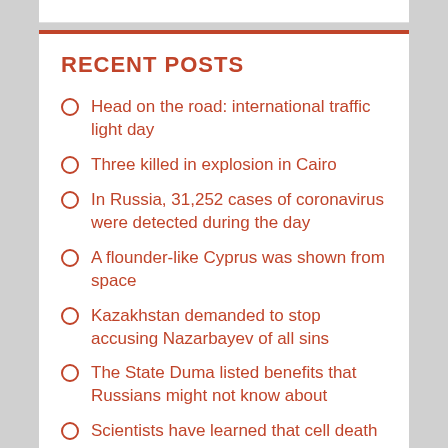RECENT POSTS
Head on the road: international traffic light day
Three killed in explosion in Cairo
In Russia, 31,252 cases of coronavirus were detected during the day
A flounder-like Cyprus was shown from space
Kazakhstan demanded to stop accusing Nazarbayev of all sins
The State Duma listed benefits that Russians might not know about
Scientists have learned that cell death